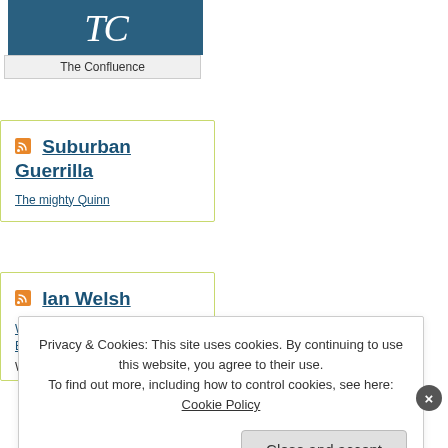[Figure (logo): The Confluence logo: teal/blue background with stylized 'TC' text in white italic serif]
The Confluence
Suburban Guerrilla
The mighty Quinn
Ian Welsh
Week-end Wrap – Political Economy – September 4, 2022
Week-end Wrap – Political
Privacy & Cookies: This site uses cookies. By continuing to use this website, you agree to their use.
To find out more, including how to control cookies, see here: Cookie Policy
Close and accept